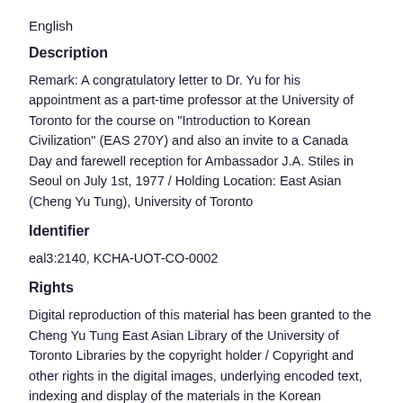English
Description
Remark: A congratulatory letter to Dr. Yu for his appointment as a part-time professor at the University of Toronto for the course on "Introduction to Korean Civilization" (EAS 270Y) and also an invite to a Canada Day and farewell reception for Ambassador J.A. Stiles in Seoul on July 1st, 1977 / Holding Location: East Asian (Cheng Yu Tung), University of Toronto
Identifier
eal3:2140, KCHA-UOT-CO-0002
Rights
Digital reproduction of this material has been granted to the Cheng Yu Tung East Asian Library of the University of Toronto Libraries by the copyright holder / Copyright and other rights in the digital images, underlying encoded text, indexing and display of the materials in the Korean Canadian Heritage Archives (KCHA) collection are held by